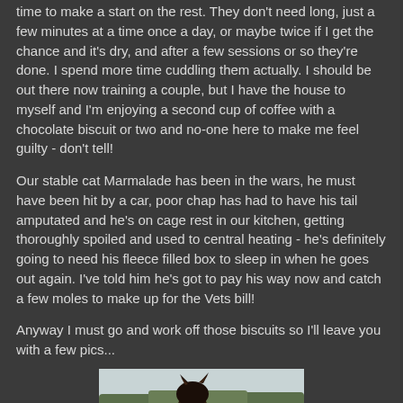time to make a start on the rest. They don't need long, just a few minutes at a time once a day, or maybe twice if I get the chance and it's dry, and after a few sessions or so they're done. I spend more time cuddling them actually. I should be out there now training a couple, but I have the house to myself and I'm enjoying a second cup of coffee with a chocolate biscuit or two and no-one here to make me feel guilty - don't tell!
Our stable cat Marmalade has been in the wars, he must have been hit by a car, poor chap has had to have his tail amputated and he's on cage rest in our kitchen, getting thoroughly spoiled and used to central heating - he's definitely going to need his fleece filled box to sleep in when he goes out again. I've told him he's got to pay his way now and catch a few moles to make up for the Vets bill!
Anyway I must go and work off those biscuits so I'll leave you with a few pics...
[Figure (photo): A photo of a horse's head seen from behind/above with trees and sky in the background]